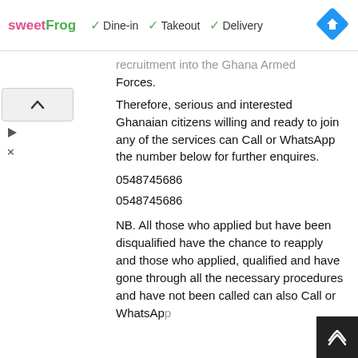[Figure (screenshot): Ad banner with sweetFrog logo, checkmarks for Dine-in, Takeout, Delivery, and a blue navigation diamond icon]
recruitment into the Ghana Armed Forces.
Therefore, serious and interested Ghanaian citizens willing and ready to join any of the services can Call or WhatsApp the number below for further enquires.
0548745686
0548745686
NB. All those who applied but have been disqualified have the chance to reapply and those who applied, qualified and have gone through all the necessary procedures and have not been called can also Call or WhatsApp